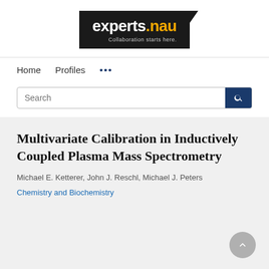[Figure (logo): experts.nau logo — black rectangle with 'experts.nau' text in white/yellow and subtitle 'Collaboration starts here.']
Home   Profiles   ...
Search
Multivariate Calibration in Inductively Coupled Plasma Mass Spectrometry
Michael E. Ketterer, John J. Reschl, Michael J. Peters
Chemistry and Biochemistry